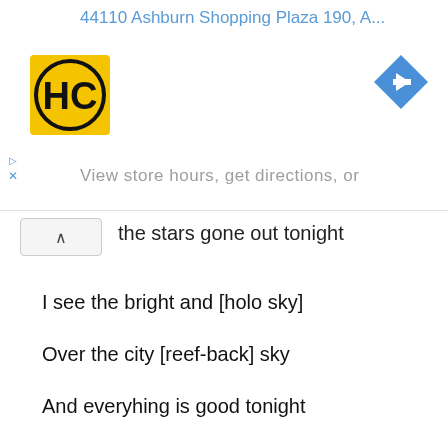[Figure (screenshot): Advertisement banner showing HC logo, address '44110 Ashburn Shopping Plaza 190, A...' in blue, navigation arrow icon, and subtext 'View store hours, get directions, or' in gray]
the stars gone out tonight
I see the bright and [holo sky]
Over the city [reef-back] sky
And everyhing is good tonight
I say you: La-la-la La-la-la-la...
Viewing into the car
We'll be the passengers